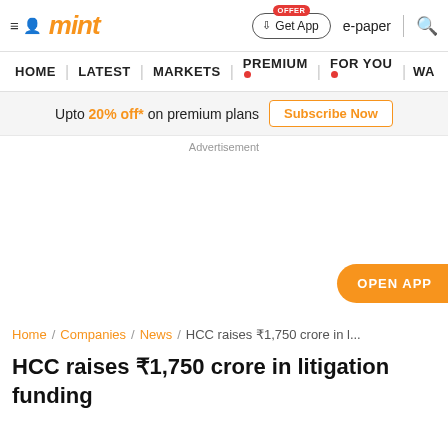mint
HOME | LATEST | MARKETS | PREMIUM | FOR YOU | WA
Upto 20% off* on premium plans Subscribe Now
Advertisement
[Figure (other): Advertisement space / OPEN APP button]
Home / Companies / News / HCC raises ₹1,750 crore in l...
HCC raises ₹1,750 crore in litigation funding